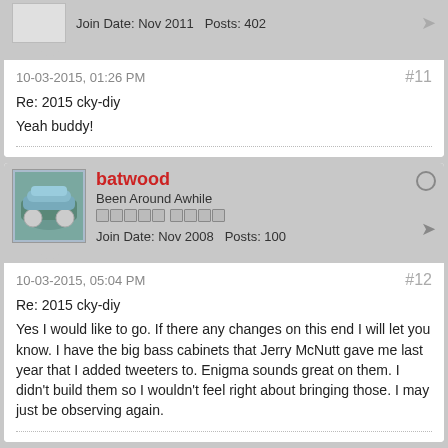Join Date: Nov 2011   Posts: 402
10-03-2015, 01:26 PM
#11
Re: 2015 cky-diy
Yeah buddy!
batwood
Been Around Awhile
Join Date: Nov 2008   Posts: 100
10-03-2015, 05:04 PM
#12
Re: 2015 cky-diy
Yes I would like to go. If there any changes on this end I will let you know. I have the big bass cabinets that Jerry McNutt gave me last year that I added tweeters to. Enigma sounds great on them. I didn't build them so I wouldn't feel right about bringing those. I may just be observing again.